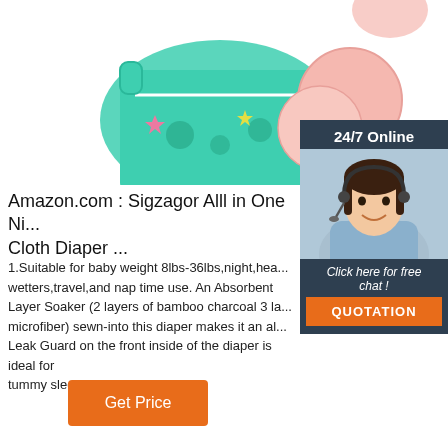[Figure (photo): Product photo showing a teal/green frog-print wet bag and pink nursing pads, on white background]
[Figure (photo): 24/7 Online chat widget with a smiling female customer service agent wearing a headset, with 'Click here for free chat!' text and orange QUOTATION button]
Amazon.com : Sigzagor Alll in One Ni... Cloth Diaper ...
1.Suitable for baby weight 8lbs-36lbs,night,heavy wetters,travel,and nap time use. An Absorbent Layer Soaker (2 layers of bamboo charcoal 3 la... microfiber) sewn-into this diaper makes it an al... Leak Guard on the front inside of the diaper is ideal for tummy sleepers and lil' guys.
Get Price